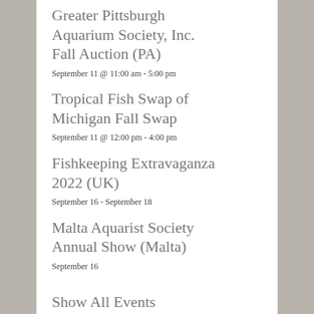Greater Pittsburgh Aquarium Society, Inc. Fall Auction (PA)
September 11 @ 11:00 am - 5:00 pm
Tropical Fish Swap of Michigan Fall Swap
September 11 @ 12:00 pm - 4:00 pm
Fishkeeping Extravaganza 2022 (UK)
September 16 - September 18
Malta Aquarist Society Annual Show (Malta)
September 16
Show All Events